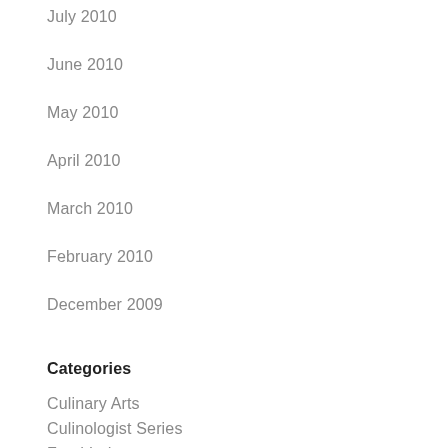July 2010
June 2010
May 2010
April 2010
March 2010
February 2010
December 2009
Categories
Culinary Arts
Culinologist Series
Food Industry